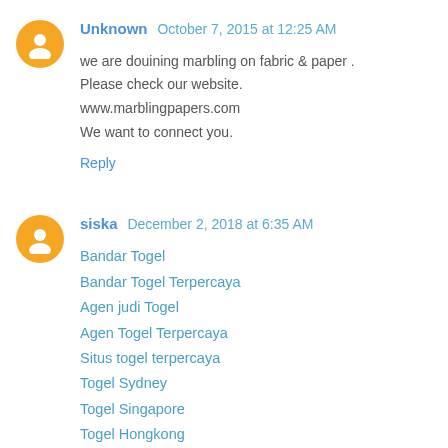Unknown  October 7, 2015 at 12:25 AM
we are douining marbling on fabric & paper .
Please check our website.
www.marblingpapers.com
We want to connect you.
Reply
siska  December 2, 2018 at 6:35 AM
Bandar Togel
Bandar Togel Terpercaya
Agen judi Togel
Agen Togel Terpercaya
Situs togel terpercaya
Togel Sydney
Togel Singapore
Togel Hongkong
Prediksi Togel
Buku Mimpi